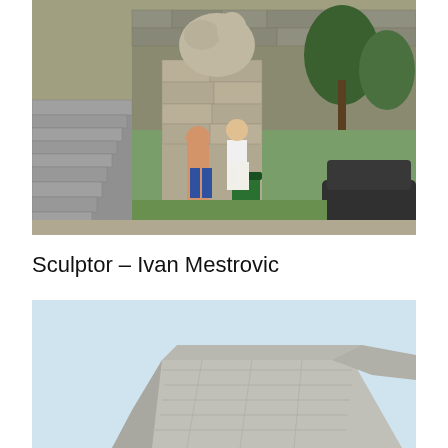[Figure (photo): Outdoor photo showing two people standing beside a large stone monument/sculpture pedestal with a stone lion or figure on top. Stone steps on the left, trees and a stone wall in the background, a green trash bin and a dark car visible on the right.]
Sculptor – Ivan Mestrovic
[Figure (photo): Photo of a large angular concrete or stone structure/monument with a flat light blue sky background. The structure appears to be a modern geometric memorial or building with a distinctive wing-like or fin shape.]